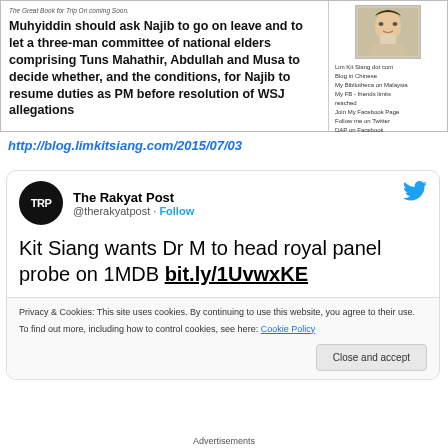[Figure (screenshot): Screenshot of a blog post showing text about Muhyiddin asking Najib to go on leave, with a sidebar showing a person's photo and Lim Kit Siang blog links]
http://blog.limkitsiang.com/2015/07/03
[Figure (screenshot): Tweet from The Rakyat Post (@therakyatpost) with text: Kit Siang wants Dr M to head royal panel probe on 1MDB bit.ly/1UvwxKE, with cookie consent bar and Close and accept button]
Advertisements